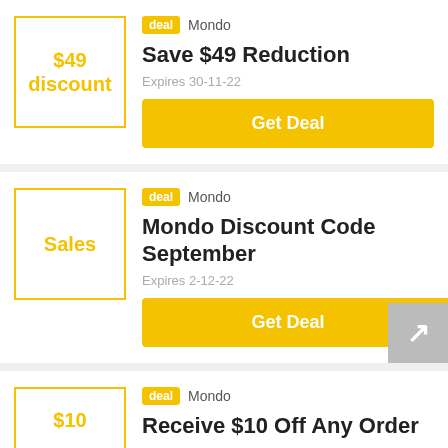[Figure (infographic): Deal card 1: $49 discount badge box with gold border, deal tag, Mondo store name, Save $49 Reduction title, Expires 30-11-22, Get Deal button]
[Figure (infographic): Deal card 2: Sales badge box with gold border, deal tag, Mondo store name, Mondo Discount Code September title, Expires 2-12-22, Get Deal button with scroll-to-top arrow overlay]
[Figure (infographic): Deal card 3 (partial): $10 badge box with gold border, deal tag, Mondo store name, Receive $10 Off Any Order title (cut off)]